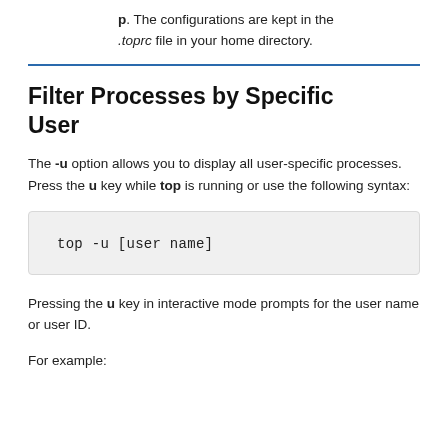p. The configurations are kept in the .toprc file in your home directory.
Filter Processes by Specific User
The -u option allows you to display all user-specific processes. Press the u key while top is running or use the following syntax:
top -u [user name]
Pressing the u key in interactive mode prompts for the user name or user ID.
For example: